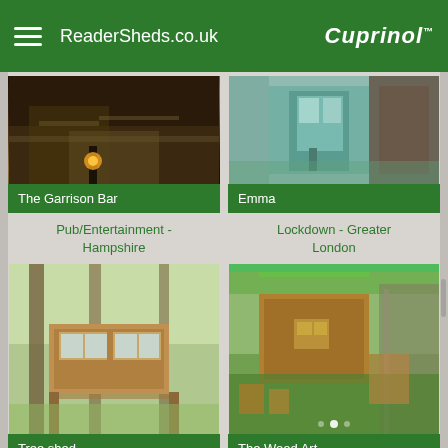ReaderSheds.co.uk | Cuprinol
[Figure (photo): Photo of The Garrison Bar - garden bar with stone steps and outdoor lighting at night]
The Garrison Bar
Pub/Entertainment - Hampshire
[Figure (photo): Photo of Emma - shed with teal/mint painted door and wooden fence]
Emma
Lockdown - Greater London
[Figure (photo): Photo of Tree shed - elevated modern wooden treehouse structure among trees]
Tree shed
Unexpected/Unique -
[Figure (photo): Photo of The Wood Art Workshop - rustic wooden shed with green roof and garden items]
The Wood Art Workshop
Workshop/Studio -